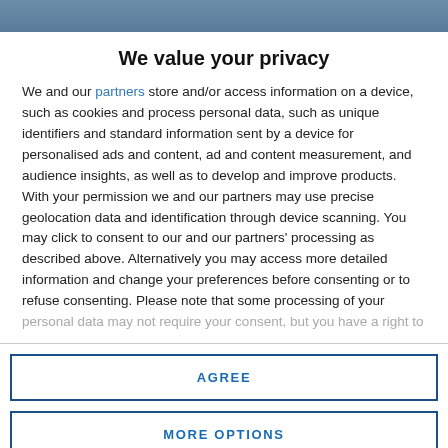[Figure (photo): Photo strip at top of page showing partial image of people]
We value your privacy
We and our partners store and/or access information on a device, such as cookies and process personal data, such as unique identifiers and standard information sent by a device for personalised ads and content, ad and content measurement, and audience insights, as well as to develop and improve products. With your permission we and our partners may use precise geolocation data and identification through device scanning. You may click to consent to our and our partners' processing as described above. Alternatively you may access more detailed information and change your preferences before consenting or to refuse consenting. Please note that some processing of your personal data may not require your consent, but you have a right to
AGREE
MORE OPTIONS
America and Australasia and will support the ongoing